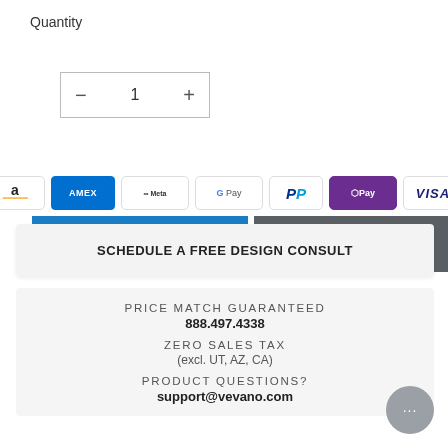Quantity
[Figure (screenshot): Quantity selector box with minus button, number 1, and plus button]
[Figure (screenshot): ADD TO CART blue button and BUY IT NOW dark gray button side by side]
[Figure (infographic): Payment method icons: Amazon, AMEX, Meta, Google Pay, PayPal, OPay, VISA]
SCHEDULE A FREE DESIGN CONSULT
PRICE MATCH GUARANTEED
888.497.4338
ZERO SALES TAX
(excl. UT, AZ, CA)
PRODUCT QUESTIONS?
support@vevano.com